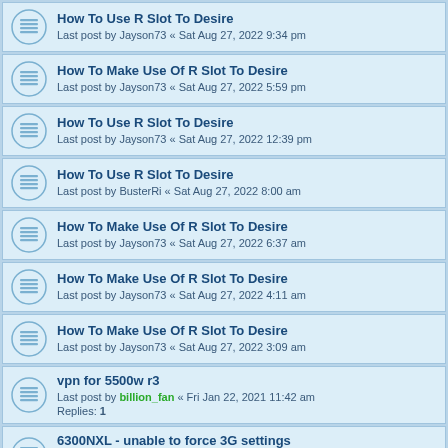How To Use R Slot To Desire
Last post by Jayson73 « Sat Aug 27, 2022 9:34 pm
How To Make Use Of R Slot To Desire
Last post by Jayson73 « Sat Aug 27, 2022 5:59 pm
How To Use R Slot To Desire
Last post by Jayson73 « Sat Aug 27, 2022 12:39 pm
How To Use R Slot To Desire
Last post by BusterRi « Sat Aug 27, 2022 8:00 am
How To Make Use Of R Slot To Desire
Last post by Jayson73 « Sat Aug 27, 2022 6:37 am
How To Make Use Of R Slot To Desire
Last post by Jayson73 « Sat Aug 27, 2022 4:11 am
How To Make Use Of R Slot To Desire
Last post by Jayson73 « Sat Aug 27, 2022 3:09 am
vpn for 5500w r3
Last post by billion_fan « Fri Jan 22, 2021 11:42 am
Replies: 1
6300NXL - unable to force 3G settings
Last post by billion_fan « Wed Aug 26, 2020 11:34 am
Replies: 3
Billion 4500NZ 4GEE Setup
Last post by billion_fan « Mon Aug 03, 2020 10:18 am
Replies: 1